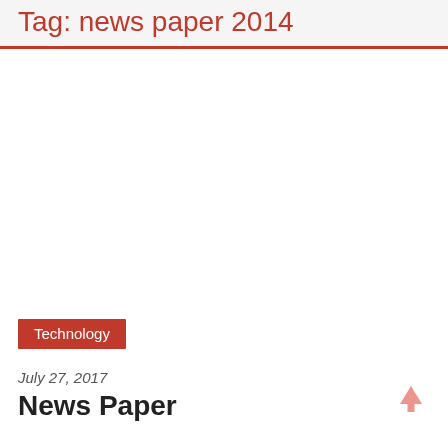Tag: news paper 2014
[Figure (photo): Large image placeholder area (white/empty)]
Technology
July 27, 2017
News Paper